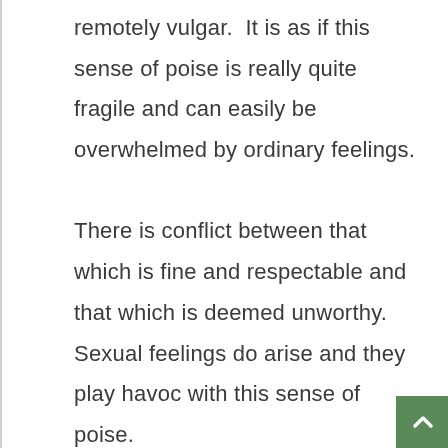remotely vulgar.  It is as if this sense of poise is really quite fragile and can easily be overwhelmed by ordinary feelings.

There is conflict between that which is fine and respectable and that which is deemed unworthy.  Sexual feelings do arise and they play havoc with this sense of poise.

Some characteristic physical symptoms (extracted from T.F. Allen) show how he